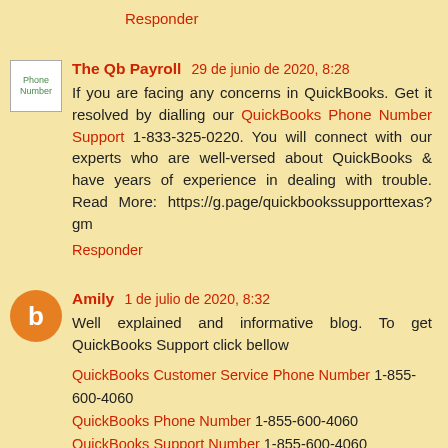Responder
The Qb Payroll 29 de junio de 2020, 8:28
If you are facing any concerns in QuickBooks. Get it resolved by dialling our QuickBooks Phone Number Support 1-833-325-0220. You will connect with our experts who are well-versed about QuickBooks & have years of experience in dealing with trouble. Read More: https://g.page/quickbookssupporttexas?gm
Responder
Amily 1 de julio de 2020, 8:32
Well explained and informative blog. To get QuickBooks Support click bellow
QuickBooks Customer Service Phone Number 1-855-600-4060
QuickBooks Phone Number 1-855-600-4060
QuickBooks Support Number 1-855-600-4060